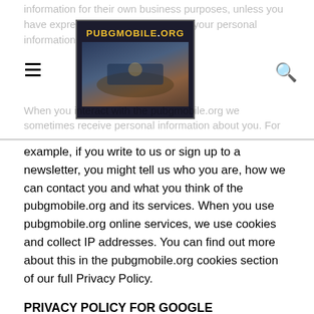pubgmobile.org [logo/navigation header]
example, if you write to us or sign up to a newsletter, you might tell us who you are, how we can contact you and what you think of the pubgmobile.org and its services. When you use pubgmobile.org online services, we use cookies and collect IP addresses. You can find out more about this in the pubgmobile.org cookies section of our full Privacy Policy.
PRIVACY POLICY FOR GOOGLE ADVERTISMENT
For each visitor to our Web page, our Web server automatically recognizes only the consumer`s domain name, but not the e-mail address (where possible).
We collect only the domain name, but not the e-mail address